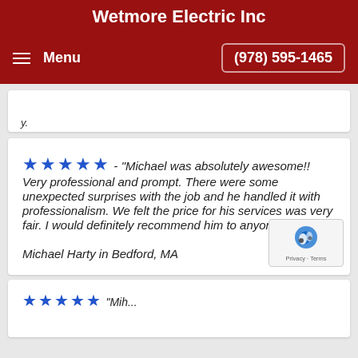Wetmore Electric Inc
Menu  (978) 595-1465
★★★★★ - "Michael was absolutely awesome!! Very professional and prompt. There were some unexpected surprises with the job and he handled it with professionalism. We felt the price for his services was very fair. I would definitely recommend him to anyone!!!"
Michael Harty in Bedford, MA
[Figure (other): reCAPTCHA privacy badge with logo, Privacy and Terms labels]
★★★★★  "Mih...